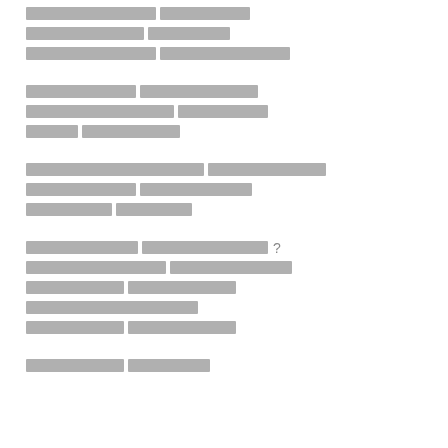[redacted line 1]
[redacted line 2]
[redacted line 3]
[redacted line 4]
[redacted line 5]
[redacted line 6]
[redacted line 7]
[redacted line 8]
[redacted line 9]
[redacted line 10]
[redacted line 11]
[redacted line 12]
[redacted line 13]
[redacted line 14]
[redacted line 15]
[redacted line 16]
[redacted line 17]
[redacted line 18]
[redacted line 19]
[redacted line 20]